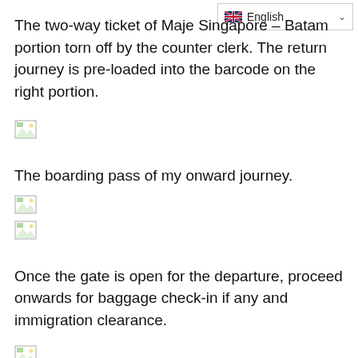[Figure (screenshot): English language selector dropdown with UK flag]
The two-way ticket of Maje Singapore – Batam portion torn off by the counter clerk. The return journey is pre-loaded into the barcode on the right portion.
[Figure (photo): Broken/missing image placeholder]
The boarding pass of my onward journey.
[Figure (photo): Broken/missing image placeholder]
[Figure (photo): Broken/missing image placeholder]
Once the gate is open for the departure, proceed onwards for baggage check-in if any and immigration clearance.
[Figure (photo): Broken/missing image placeholder]